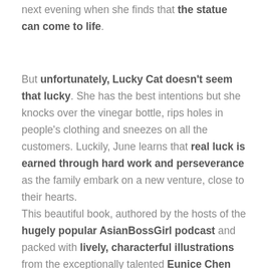next evening when she finds that the statue can come to life.
But unfortunately, Lucky Cat doesn't seem that lucky. She has the best intentions but she knocks over the vinegar bottle, rips holes in people's clothing and sneezes on all the customers. Luckily, June learns that real luck is earned through hard work and perseverance as the family embark on a new venture, close to their hearts.
This beautiful book, authored by the hosts of the hugely popular AsianBossGirl podcast and packed with lively, characterful illustrations from the exceptionally talented Eunice Chen tells a funny and